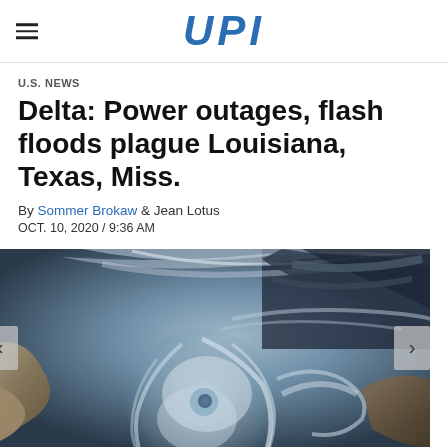UPI
U.S. NEWS
Delta: Power outages, flash floods plague Louisiana, Texas, Miss.
By Sommer Brokaw & Jean Lotus
OCT. 10, 2020 / 9:36 AM
[Figure (photo): Satellite image showing Hurricane Delta over the Gulf of Mexico approaching Louisiana coast, with cloud spiral visible]